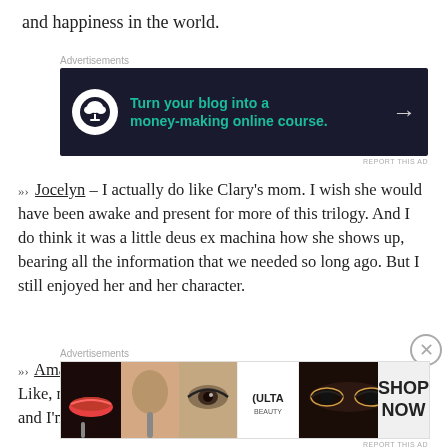and happiness in the world.
[Figure (infographic): Dark navy advertisement banner: 'Turn your blog into a money-making online course.' with bonsai tree logo and arrow]
»› Jocelyn – I actually do like Clary's mom. I wish she would have been awake and present for more of this trilogy. And I do think it was a little deus ex machina how she shows up, bearing all the information that we needed so long ago. But I still enjoyed her and her character.
»› Amatis – Luke's sister is honestly my new favorite, too! Like, maybe I'm too old to be reading these for the first time, and I'm just connecting with all the (very older than
[Figure (infographic): ULTA beauty advertisement banner with makeup photos and SHOP NOW call to action]